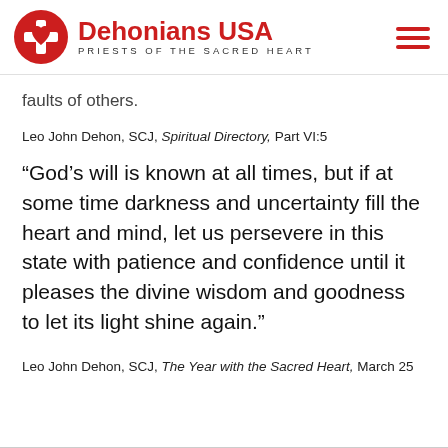Dehonians USA — PRIESTS OF THE SACRED HEART
faults of others.
Leo John Dehon, SCJ, Spiritual Directory, Part VI:5
“God’s will is known at all times, but if at some time darkness and uncertainty fill the heart and mind, let us persevere in this state with patience and confidence until it pleases the divine wisdom and goodness to let its light shine again.”
Leo John Dehon, SCJ, The Year with the Sacred Heart, March 25